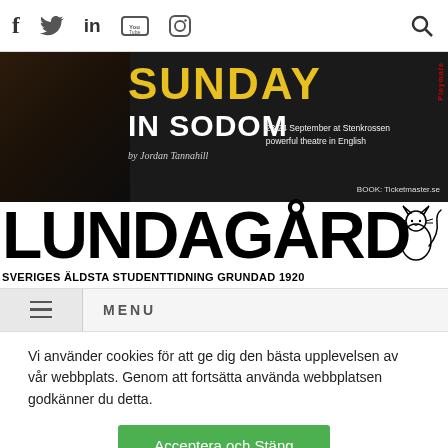f  Twitter  in  YouTube  Instagram  [search icon]
[Figure (photo): Advertisement banner for 'Sunday in Sodom' by Jordan Tannahill. Dark background with yellow text reading SUNDAY IN SODOM. Subtitle: 23/24 September at Stenkrossen, powerful theatre in English. BOOK: Ticketmaster.se. Playmate logo on right side.]
LUNDAGÅRD
SVERIGES ÄLDSTA STUDENTTIDNING GRUNDAD 1920
≡  MENU
Vi använder cookies för att ge dig den bästa upplevelsen av vår webbplats. Genom att fortsätta använda webbplatsen godkänner du detta.
Acceptera och Stäng